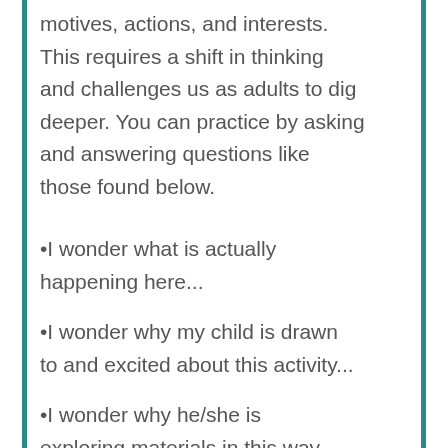motives, actions, and interests. This requires a shift in thinking and challenges us as adults to dig deeper. You can practice by asking and answering questions like those found below.
•I wonder what is actually happening here...
•I wonder why my child is drawn to and excited about this activity...
•I wonder why he/she is exploring materials in this way...
•I wonder what he/she is trying